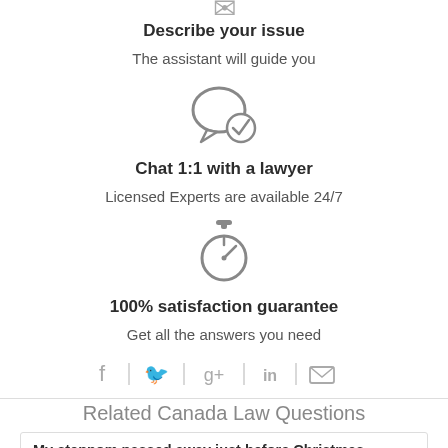[Figure (illustration): Icon showing a document or form (partially visible at top)]
Describe your issue
The assistant will guide you
[Figure (illustration): Chat bubble with a checkmark icon]
Chat 1:1 with a lawyer
Licensed Experts are available 24/7
[Figure (illustration): Stopwatch / timer icon]
100% satisfaction guarantee
Get all the answers you need
[Figure (infographic): Social sharing icons: Facebook, Twitter, Google+, LinkedIn, Email]
Related Canada Law Questions
My stepnom passed away just before Christmas